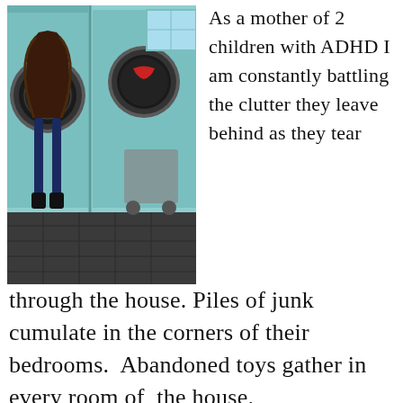[Figure (photo): A child with long dark hair hanging head-first into a front-loading washing machine at a laundromat with teal/mint colored walls and machines.]
As a mother of 2 children with ADHD I am constantly battling the clutter they leave behind as they tear through the house. Piles of junk cumulate in the corners of their bedrooms. Abandoned toys gather in every room of the house.